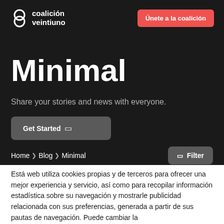coalición veintiuno | Únete a la coalición
Minimal
Share your stories and news with everyone.
Get Started
Home ❯ Blog ❯ Minimal
Filter
Está web utiliza cookies propias y de terceros para ofrecer una mejor experiencia y servicio, así como para recopilar información estadística sobre su navegación y mostrarle publicidad relacionada con sus preferencias, generada a partir de sus pautas de navegación. Puede cambiar la configuración o bien obtener más información en nuestra política